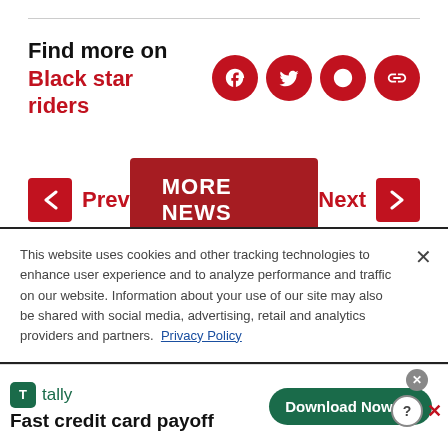Find more on Black star riders
[Figure (infographic): Social media share icons: Facebook, Twitter, Reddit, Link]
[Figure (infographic): Navigation buttons: Prev arrow left, MORE NEWS button, Next arrow right]
This website uses cookies and other tracking technologies to enhance user experience and to analyze performance and traffic on our website. Information about your use of our site may also be shared with social media, advertising, retail and analytics providers and partners. Privacy Policy
[Figure (infographic): Tally advertisement: Fast credit card payoff. Download Now button.]